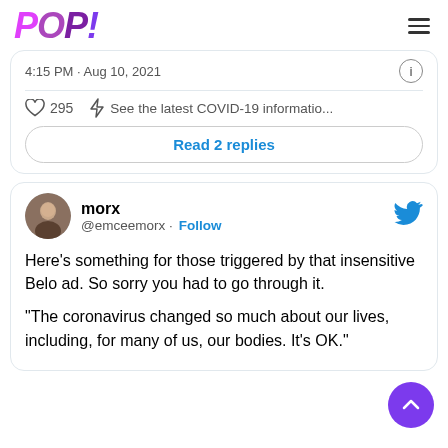[Figure (logo): POP! logo in purple gradient lettering, stylized italic bold font]
4:15 PM · Aug 10, 2021
295   See the latest COVID-19 informatio...
Read 2 replies
morx
@emceemorx · Follow
Here's something for those triggered by that insensitive Belo ad. So sorry you had to go through it.

"The coronavirus changed so much about our lives, including, for many of us, our bodies. It's OK."